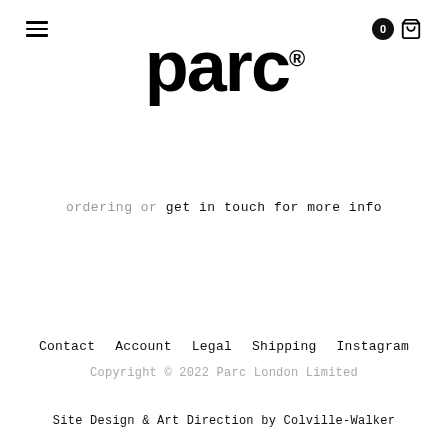parc®
ordering or get in touch for more info
Contact   Account   Legal   Shipping   Instagram
Copyright © 2022 Parc London Limited
Site Design & Art Direction by Colville-Walker